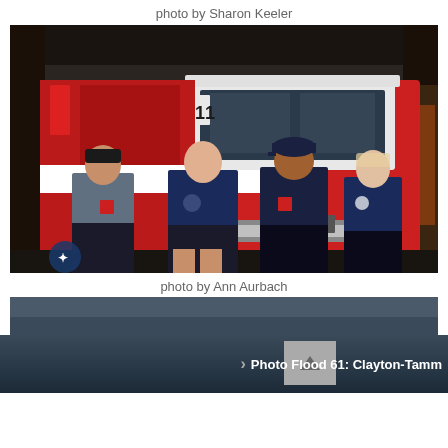photo by Sharon Keeler
[Figure (photo): Four firefighters standing in front of a red fire truck inside a fire station. One firefighter on the left is wearing a gray-blue t-shirt, and the other three are wearing navy blue shirts. One is wearing a baseball cap.]
photo by Ann Aurbach
[Figure (photo): Partial view of a dark blue/navy background, beginning of a second photo below.]
> Photo Flood 61: Clayton-Tamm